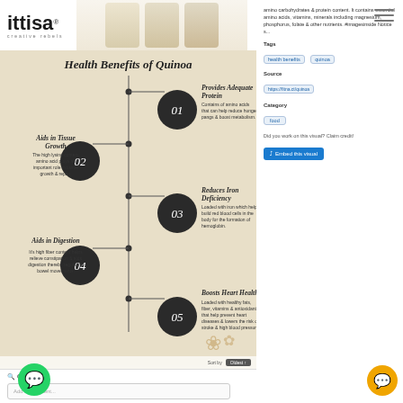[Figure (infographic): Health Benefits of Quinoa infographic with 5 numbered items: 01 Provides Adequate Protein, 02 Aids in Tissue Growth, 03 Reduces Iron Deficiency, 04 Aids in Digestion, 05 Boosts Heart Health. Each item has a dark circular number badge and descriptive text. Layout alternates left and right sides of a central vertical line.]
Tags
health benefits   quinoa
Source
https://fitna.ct/quinoa
Category
food
Did you work on this visual? Claim credit!
Embed this visual
Add a comment...